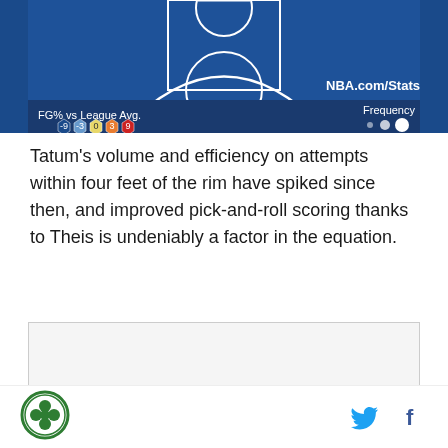[Figure (infographic): NBA.com/Stats shot chart showing basketball half-court with FG% vs League Avg. legend (-9, -3, 0, 3, 9) shown as colored hexagons (dark blue, light blue, yellow, orange, red) and Frequency legend with dots of varying sizes]
Tatum's volume and efficiency on attempts within four feet of the rim have spiked since then, and improved pick-and-roll scoring thanks to Theis is undeniably a factor in the equation.
[Figure (photo): AD label advertisement box with partial photo of building/arena below]
[Figure (logo): Green circular logo with clover/shamrock design (Celtics related site logo)]
[Figure (other): Twitter bird icon and Facebook f icon in teal/blue colors in page footer]